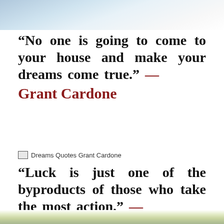[Figure (photo): Top portion of a photo, likely showing a person, partially cropped at the top of the page]
“No one is going to come to your house and make your dreams come true.” — Grant Cardone
[Figure (other): Image placeholder labeled: Dreams Quotes Grant Cardone]
“Luck is just one of the byproducts of those who take the most action.” — Grant Cardone
[Figure (photo): Bottom portion of a photo, partially cropped at the bottom of the page]